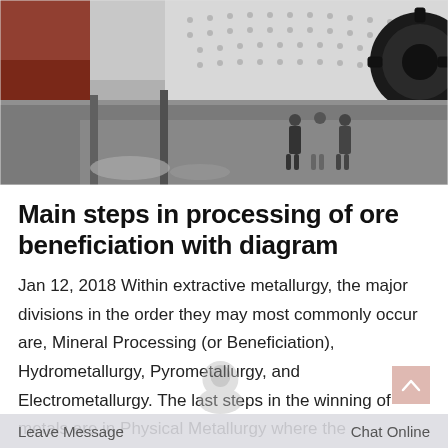[Figure (photo): Industrial milling machine (ball mill) in a factory setting, with workers standing nearby. Large cylindrical drum with bolted panels and a black gear wheel visible. Red structural components on the left.]
Main steps in processing of ore beneficiation with diagram
Jan 12, 2018 Within extractive metallurgy, the major divisions in the order they may most commonly occur are, Mineral Processing (or Beneficiation), Hydrometallurgy, Pyrometallurgy, and Electrometallurgy. The last steps in the winning of metals are in Physical Metallurgy where the composition and treatment of metals are varied to provide desired physical
Leave Message                    Chat Online